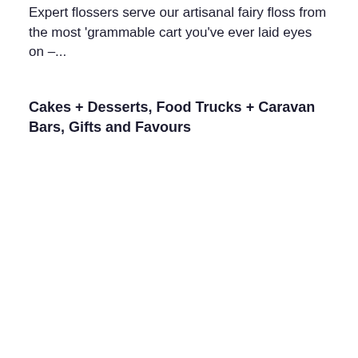Expert flossers serve our artisanal fairy floss from the most 'grammable cart you've ever laid eyes on –...
Cakes + Desserts, Food Trucks + Caravan Bars, Gifts and Favours